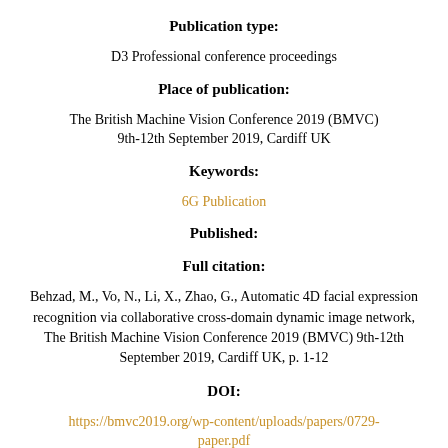Publication type:
D3 Professional conference proceedings
Place of publication:
The British Machine Vision Conference 2019 (BMVC) 9th-12th September 2019, Cardiff UK
Keywords:
6G Publication
Published:
Full citation:
Behzad, M., Vo, N., Li, X., Zhao, G., Automatic 4D facial expression recognition via collaborative cross-domain dynamic image network, The British Machine Vision Conference 2019 (BMVC) 9th-12th September 2019, Cardiff UK, p. 1-12
DOI:
https://bmvc2019.org/wp-content/uploads/papers/0729-paper.pdf